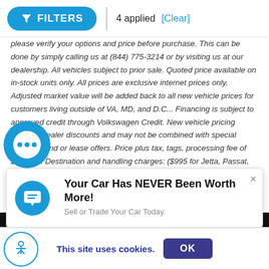FILTERS  |  4 applied  [Clear]
please verify your options and price before purchase. This can be done by simply calling us at (844) 775-3214 or by visiting us at our dealership. All vehicles subject to prior sale. Quoted price available on in-stock units only. All prices are exclusive internet prices only. Adjusted market value will be added back to all new vehicle prices for customers living outside of VA, MD, and D.C... Financing is subject to approved credit through Volkswagen Credit. New vehicle pricing includes dealer discounts and may not be combined with special financing and or lease offers. Price plus tax, tags, processing fee of $899 VA. Destination and handling charges: ($995 for Jetta, Passat, Golf, Golf GTI, $1,195 Arteon and Tiguan, $1,020 for Atlas, and $1,195 Atlas Cross Sport).. All Manufacturer incentives included in the price will require financing through VCI or other Sheehy approved lenders. Some manufacturer incentives are not compatible with special manufacturer offers. Manufacturer incentives are valid during the time period set by the manufacturer and are subject to change without notice. The additional manufacturer offers and incentives may apply to those who
[Figure (infographic): Popup banner: chat icon on left, bold title 'Your Car Has NEVER Been Worth More!', subtitle 'Sell or Trade Your Car Today.', close X button top right]
Your Car Has NEVER Been Worth More!
Sell or Trade Your Car Today.
This site uses cookies.
OK